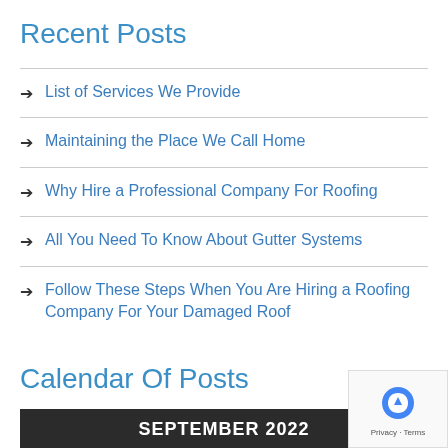Recent Posts
List of Services We Provide
Maintaining the Place We Call Home
Why Hire a Professional Company For Roofing
All You Need To Know About Gutter Systems
Follow These Steps When You Are Hiring a Roofing Company For Your Damaged Roof
Calendar Of Posts
| M | T | W | T | F | S |
| --- | --- | --- | --- | --- | --- |
|  |  |  | 1 | 2 | 3 |